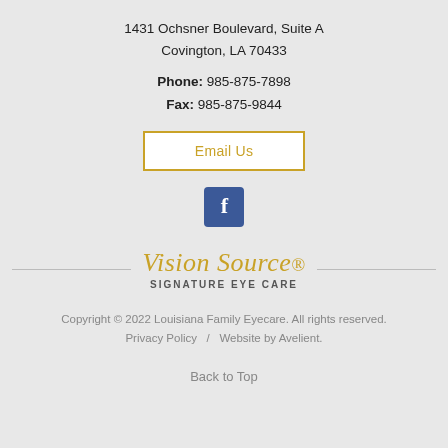1431 Ochsner Boulevard, Suite A
Covington, LA 70433
Phone: 985-875-7898
Fax: 985-875-9844
Email Us
[Figure (logo): Facebook icon - blue square with white letter f]
[Figure (logo): Vision Source Signature Eye Care logo with decorative script and horizontal rules]
Copyright © 2022 Louisiana Family Eyecare. All rights reserved.
Privacy Policy   /   Website by Avelient.
Back to Top